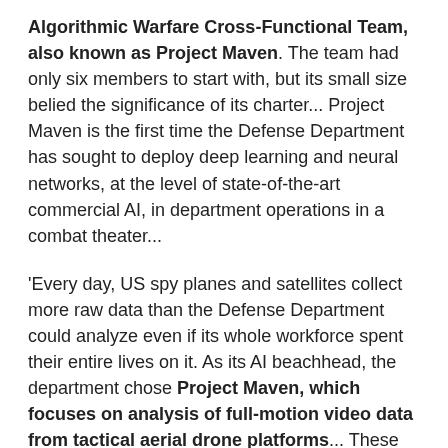Algorithmic Warfare Cross-Functional Team, also known as Project Maven. The team had only six members to start with, but its small size belied the significance of its charter... Project Maven is the first time the Defense Department has sought to deploy deep learning and neural networks, at the level of state-of-the-art commercial AI, in department operations in a combat theater...
'Every day, US spy planes and satellites collect more raw data than the Defense Department could analyze even if its whole workforce spent their entire lives on it. As its AI beachhead, the department chose Project Maven, which focuses on analysis of full-motion video data from tactical aerial drone platforms... These drone platforms and their full-motion video sensors play a major role in the conflict against ISIS across the globe. The tactical and medium-altitude video sensors of the Scan Eagle, MQ-1C, and MQ-9 produce imagery that more or less resembles